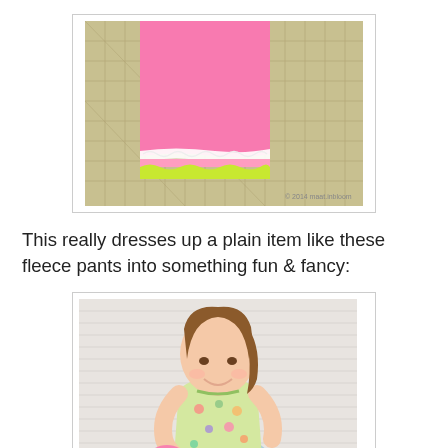[Figure (photo): Pink fleece fabric with white lace trim and yellow-green ruffle trim at the bottom, laid flat on a cutting mat grid.]
This really dresses up a plain item like these fleece pants into something fun & fancy:
[Figure (photo): A young girl with brown hair smiling and looking down, wearing a colorful floral outfit, photographed against a white textured background.]